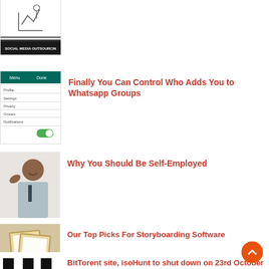[Figure (screenshot): Social Media Outsourcing thumbnail with figure/chart icon and text]
[Figure (screenshot): WhatsApp group settings screenshot showing green toggle]
Finally You Can Control Who Adds You to Whatsapp Groups
[Figure (photo): Smiling young Black man in shirt and tie, self-employed concept]
Why You Should Be Self-Employed
[Figure (photo): Two picture frames on a beige background for storyboarding article]
Our Top Picks For Storyboarding Software
[Figure (logo): isoHunt logo with stylized HL letters in black]
BitTorent site, isoHunt to shut down on 23rd October